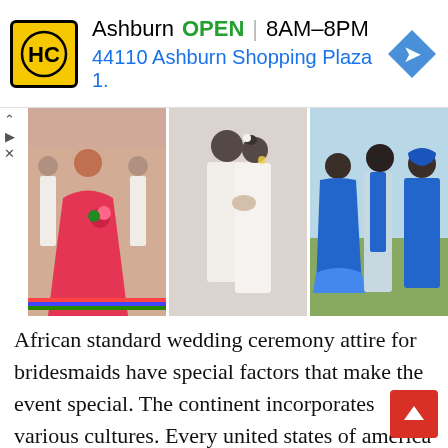[Figure (infographic): Advertisement banner for HC (Harris Communications or similar) showing logo, Ashburn location, OPEN status, hours 8AM-8PM, and address 44110 Ashburn Shopping Plaza 1., with a blue navigation arrow icon on the right.]
[Figure (photo): Three-panel collage of African wedding photos: left shows bridesmaids in white dresses with rainbow trim and a woman in a flowing hot-pink/red gown holding bouquet; center shows a couple in white attire in a romantic close-up pose; right shows three people in blue traditional African outfits outdoors.]
African standard wedding ceremony attire for bridesmaids have special factors that make the event special. The continent incorporates various cultures. Every united states of america has societies that partner distinctive meanings with